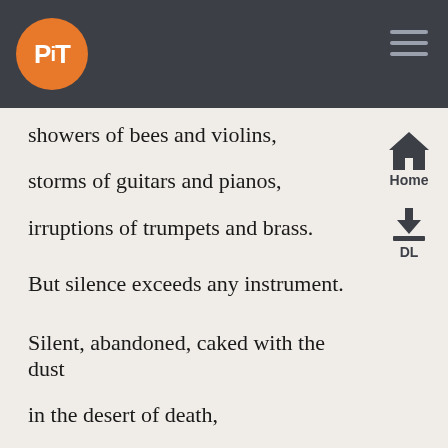PiT
showers of bees and violins,
storms of guitars and pianos,
irruptions of trumpets and brass.
But silence exceeds any instrument.
Silent, abandoned, caked with the dust
in the desert of death,
it seems your tongue, it seems your breath,
have shot home the bolt of a door.
As if I walked with your shade